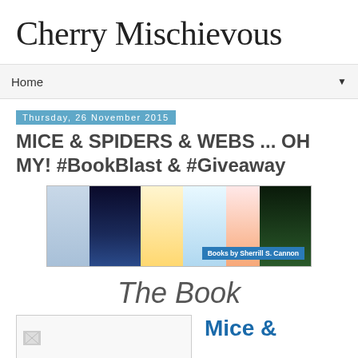Cherry Mischievous
Home
Thursday, 26 November 2015
MICE & SPIDERS & WEBS ... OH MY! #BookBlast & #Giveaway
[Figure (illustration): Banner image showing multiple children's books by Sherrill S. Cannon including Santa's Magic, Find Max, Gimme-Jimmy, and others arranged in a colorful collage with text 'Books by Sherrill S. Cannon']
The Book
[Figure (photo): Thumbnail image placeholder (broken image icon) for book cover]
Mice &